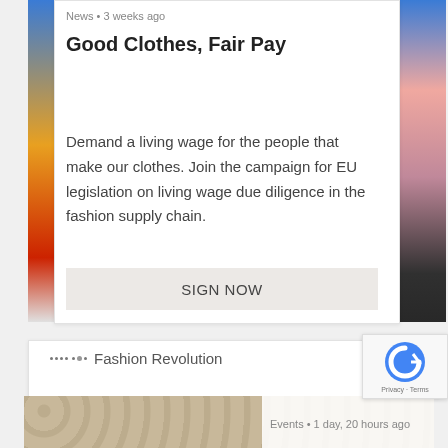News • 3 weeks ago
Good Clothes, Fair Pay
Demand a living wage for the people that make our clothes. Join the campaign for EU legislation on living wage due diligence in the fashion supply chain.
SIGN NOW
Fashion Revolution
Events • 1 day, 20 hours ago